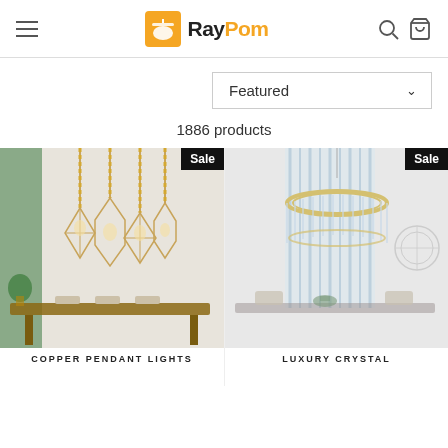RayPom – Navigation header with hamburger menu, logo, search and cart icons
[Figure (screenshot): Featured dropdown filter selector showing 'Featured' with chevron]
1886 products
[Figure (photo): Product photo: copper/gold geometric pendant lights hanging over a dining table in a room with sage green accent wall. Sale badge in top right corner.]
COPPER PENDANT LIGHTS
[Figure (photo): Product photo: luxury round crystal chandelier hanging in a bright dining room. Sale badge in top right corner.]
LUXURY CRYSTAL